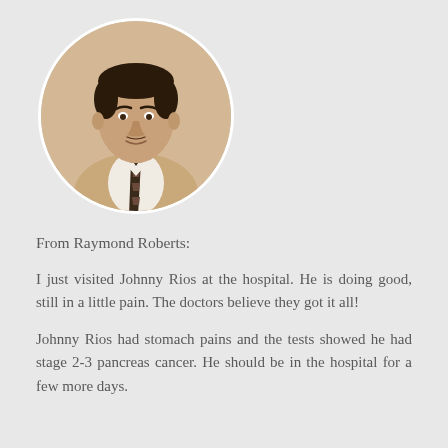[Figure (photo): Circular portrait photo of a young man wearing a suit and striped tie, with dark hair, formal attire in a warm beige tone.]
From Raymond Roberts:
I just visited Johnny Rios at the hospital. He is doing good, still in a little pain. The doctors believe they got it all!
Johnny Rios had stomach pains and the tests showed he had stage 2-3 pancreas cancer. He should be in the hospital for a few more days.